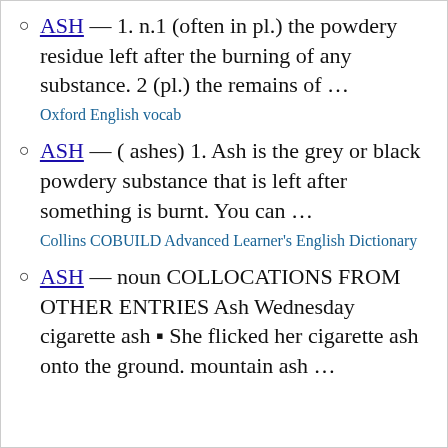ASH — 1. n.1 (often in pl.) the powdery residue left after the burning of any substance. 2 (pl.) the remains of … Oxford English vocab
ASH — ( ashes) 1. Ash is the grey or black powdery substance that is left after something is burnt. You can … Collins COBUILD Advanced Learner's English Dictionary
ASH — noun COLLOCATIONS FROM OTHER ENTRIES Ash Wednesday cigarette ash ▪ She flicked her cigarette ash onto the ground. mountain ash …